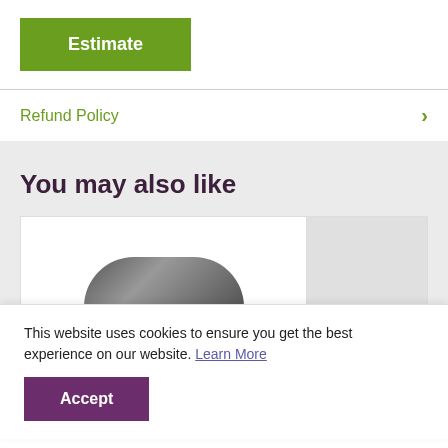Estimate
Refund Policy
You may also like
[Figure (screenshot): Product card image placeholder showing a dark rounded shape, partially visible]
[Figure (screenshot): Cookie consent banner: 'This website uses cookies to ensure you get the best experience on our website. Learn More' with Accept button]
This website uses cookies to ensure you get the best experience on our website. Learn More
Accept